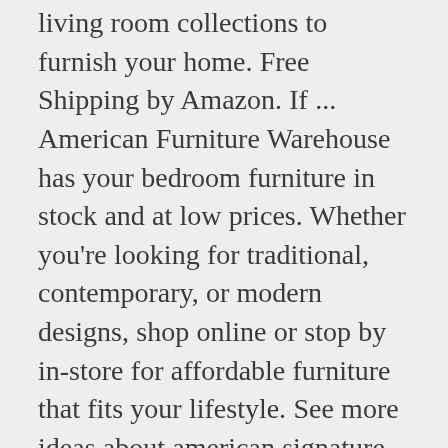living room collections to furnish your home. Free Shipping by Amazon. If ... American Furniture Warehouse has your bedroom furniture in stock and at low prices. Whether you're looking for traditional, contemporary, or modern designs, shop online or stop by in-store for affordable furniture that fits your lifestyle. See more ideas about american signature bedroom, american signature furniture, value city furniture. Learn More. Jan 6, 2017 - At the Furniture Mall we have a store for you to sell your Home Decor and furniture. Chat. Due to high order volume and COVID-19, some items may have longer than normal delivery times. Our goal is to provide an easy and enjoyable shopping experience for